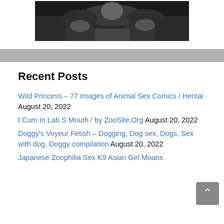[Figure (photo): Black and white photograph of people crawling outdoors]
Recent Posts
Wild Princess – 77 Images of Animal Sex Comics / Hentai August 20, 2022
I Cum In Lab S Mouth / by ZooSite.Org August 20, 2022
Doggy's Voyeur Fetish – Dogging, Dog sex, Dogs, Sex with dog, Doggy compilation August 20, 2022
Japanese Zoophilia Sex K9 Asian Girl Moans...